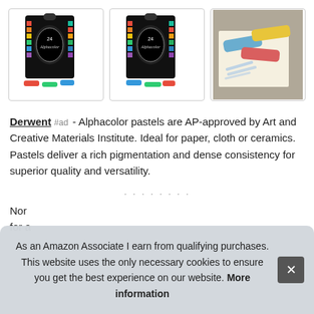[Figure (photo): Three product images: two showing Alphacolor 24 pastel sets in black packaging, and one showing individual pastel sticks (blue, red, yellow) on paper]
Derwent #ad - Alphacolor pastels are AP-approved by Art and Creative Materials Institute. Ideal for paper, cloth or ceramics. Pastels deliver a rich pigmentation and dense consistency for superior quality and versatility.
Nor [partially obscured text] for a [partially obscured text]
As an Amazon Associate I earn from qualifying purchases. This website uses the only necessary cookies to ensure you get the best experience on our website. More information